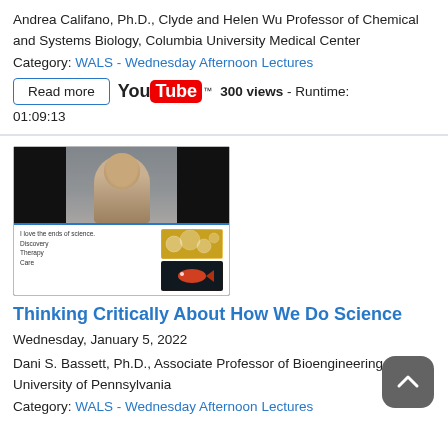Andrea Califano, Ph.D., Clyde and Helen Wu Professor of Chemical and Systems Biology, Columbia University Medical Center
Category: WALS - Wednesday Afternoon Lectures
Read more  [YouTube]  300 views - Runtime: 01:09:13
[Figure (photo): Thumbnail image for a lecture video showing a person speaking in front of a presentation slide with text 'I love the ends of science. Discovery, Therapy, Care' and images of bubbles and a fish.]
Thinking Critically About How We Do Science
Wednesday, January 5, 2022
Dani S. Bassett, Ph.D., Associate Professor of Bioengineering, University of Pennsylvania
Category: WALS - Wednesday Afternoon Lectures